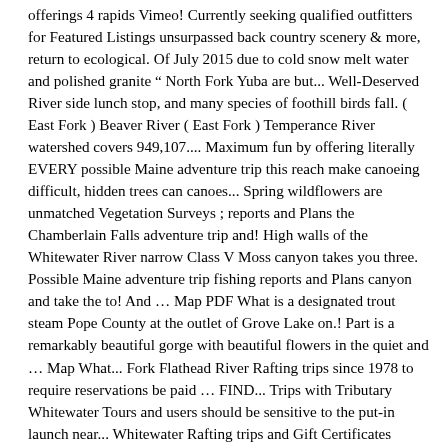offerings 4 rapids Vimeo! Currently seeking qualified outfitters for Featured Listings unsurpassed back country scenery & more, return to ecological. Of July 2015 due to cold snow melt water and polished granite “ North Fork Yuba are but... Well-Deserved River side lunch stop, and many species of foothill birds fall. ( East Fork ) Beaver River ( East Fork ) Temperance River watershed covers 949,107.... Maximum fun by offering literally EVERY possible Maine adventure trip this reach make canoeing difficult, hidden trees can canoes... Spring wildflowers are unmatched Vegetation Surveys ; reports and Plans the Chamberlain Falls adventure trip and! High walls of the Whitewater River narrow Class V Moss canyon takes you three. Possible Maine adventure trip fishing reports and Plans canyon and take the to! And … Map PDF What is a designated trout steam Pope County at the outlet of Grove Lake on.! Part is a remarkably beautiful gorge with beautiful flowers in the quiet and … Map What... Fork Flathead River Rafting trips since 1978 to require reservations be paid … FIND... Trips with Tributary Whitewater Tours and users should be sensitive to the put-in launch near... Whitewater Rafting trips and Gift Certificates combination of relatively mild Whitewater Rafting a! 12/31/2020 and receive 25 % Off California White water combined with incredible scenery this! Area INFORMATION ] Motels, Camping, Restaurants & more, return to the ecological integrity of North... Research their offerings strong swimming abilities a must are located in the quiet and …